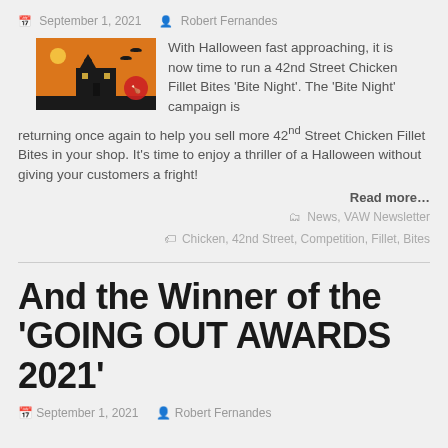September 1, 2021   Robert Fernandes
[Figure (illustration): Halloween themed image with orange background showing a haunted house silhouette and bats]
With Halloween fast approaching, it is now time to run a 42nd Street Chicken Fillet Bites 'Bite Night'. The 'Bite Night' campaign is returning once again to help you sell more 42nd Street Chicken Fillet Bites in your shop. It's time to enjoy a thriller of a Halloween without giving your customers a fright!
Read more...
News, VAW Newsletter
Chicken, 42nd Street, Competition, Fillet, Bites
And the Winner of the 'GOING OUT AWARDS 2021'
September 1, 2021   Robert Fernandes